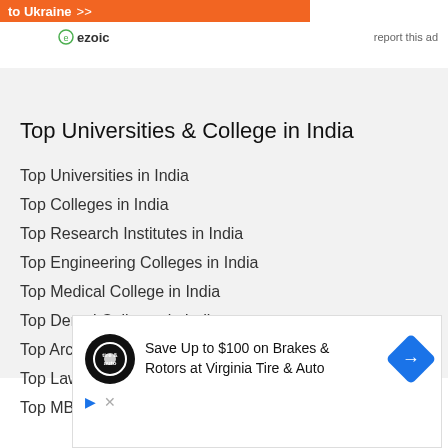to Ukraine >>
ezoic   report this ad
Top Universities & College in India
Top Universities in India
Top Colleges in India
Top Research Institutes in India
Top Engineering Colleges in India
Top Medical College in India
Top Dental Colleges in India
Top Architecture College in India
Top Law Colleges in India
Top MBA Colleges in India
[Figure (screenshot): Advertisement banner: Save Up to $100 on Brakes & Rotors at Virginia Tire & Auto, with tire logo and navigation icon]